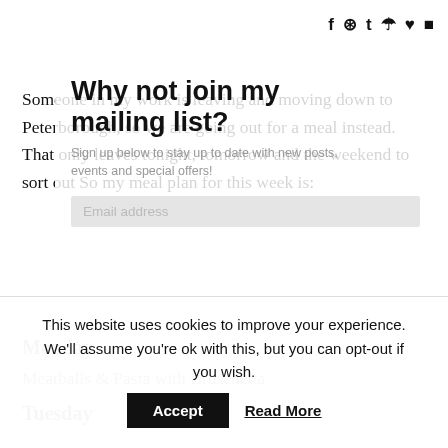f  ig  tw  p  ♥  yt (social icons)
Someone in my work is leaving and moving down to Peterborough, so we are going out for a meal instead. That only leaves tonight, tomorrow and the weekend to sort out So my meal plan for this week is:
[Figure (other): Mailing list sign-up overlay with title 'Why not join my mailing list?' and subtitle 'Sign up below to stay up to date with new posts, events and special offers!' and an email address input field]
Monday
Meatballs & Pasta with Bruschetta
Tuesday
This website uses cookies to improve your experience. We'll assume you're ok with this, but you can opt-out if you wish.
Accept  Read More